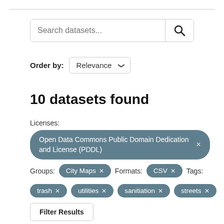Search datasets...
Order by: Relevance
10 datasets found
Licenses:
Open Data Commons Public Domain Dedication and License (PDDL) ×
Groups: City Maps ×   Formats: CSV ×   Tags:
trash ×
utilities ×
sanitiation ×
streets ×
Filter Results